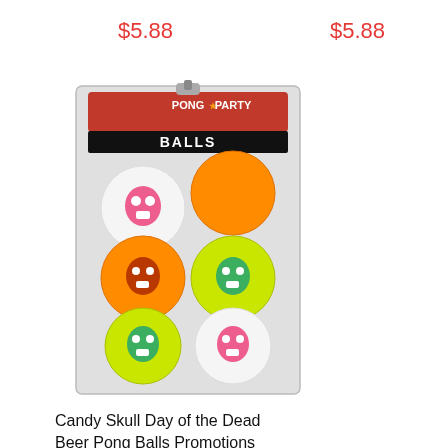$5.88
$5.88
[Figure (photo): Package of Pong Party Balls - Candy Skull Day of the Dead Beer Pong Balls. The package shows 6 balls in orange, yellow-green, and white colors with skull designs.]
Candy Skull Day of the Dead Beer Pong Balls Promotions
$1.28
GIFTCOSTUMES.COM
COSTUMES